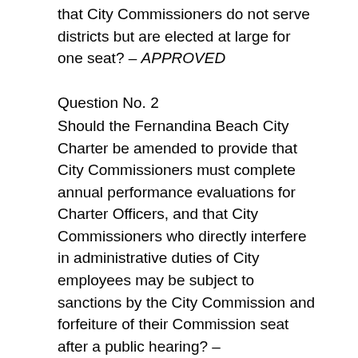that City Commissioners do not serve districts but are elected at large for one seat? – APPROVED
Question No. 2
Should the Fernandina Beach City Charter be amended to provide that City Commissioners must complete annual performance evaluations for Charter Officers, and that City Commissioners who directly interfere in administrative duties of City employees may be subject to sanctions by the City Commission and forfeiture of their Commission seat after a public hearing? – APPROVED
Question No. 3
Should the Fernandina Beach City Charter be amended to provide that a City Commissioner convicted of a felony, is absent from 3 regular meetings in a year or violates the Florida Code of Ethics for Public Officers is suspended